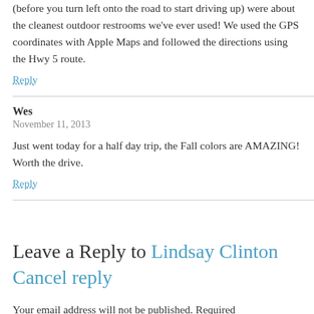(before you turn left onto the road to start driving up) were about the cleanest outdoor restrooms we've ever used! We used the GPS coordinates with Apple Maps and followed the directions using the Hwy 5 route.
Reply
Wes
November 11, 2013
Just went today for a half day trip, the Fall colors are AMAZING! Worth the drive.
Reply
Leave a Reply to Lindsay Clinton
Cancel reply
Your email address will not be published. Required